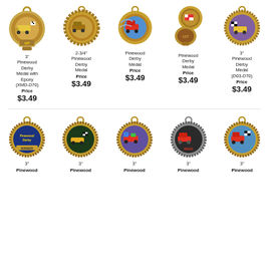[Figure (photo): 5 Pinewood Derby medals in top row]
3" Pinewood Derby Medal with Epoxy (XMD-D70)
Price $3.49
2-3/4" Pinewood Derby Medal
Price $3.49
Pinewood Derby Medal
Price $3.49
Pinewood Derby Medal
Price $3.49
3" Pinewood Derby Medal (D03-D70)
Price $3.49
[Figure (photo): 5 Pinewood Derby medals in bottom row]
3" Pinewood
3" Pinewood
3" Pinewood
3" Pinewood
3" Pinewood